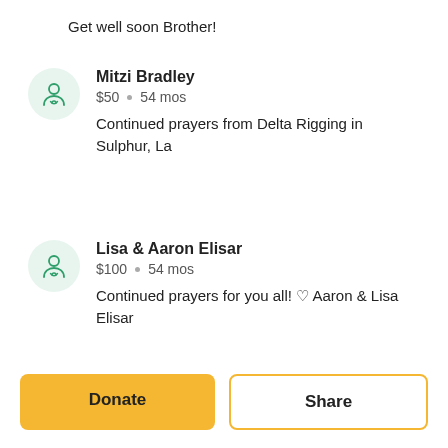Get well soon Brother!
Mitzi Bradley
$50 • 54 mos
Continued prayers from Delta Rigging in Sulphur, La
Lisa & Aaron Elisar
$100 • 54 mos
Continued prayers for you all! ♡ Aaron & Lisa Elisar
Donate
Share